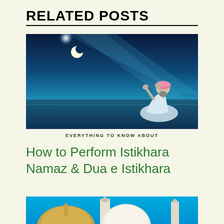RELATED POSTS
[Figure (photo): A person in white robes and pink turban kneeling and praying with hands raised, set against a dramatic blue night sky with moon and ocean in the background.]
EVERYTHING TO KNOW ABOUT
How to Perform Istikhara Namaz & Dua e Istikhara
[Figure (photo): Partial view of a mosque with golden dome and minarets against a bright blue sky, cropped at the bottom of the page.]